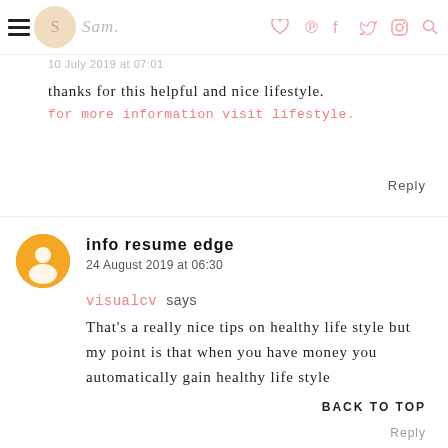Sam.
10 July 2019 at 07:01
thanks for this helpful and nice lifestyle.
for more information visit lifestyle.
Reply
info resume edge
24 August 2019 at 06:30
visualcv says
That's a really nice tips on healthy life style but my point is that when you have money you automatically gain healthy life style
BACK TO TOP
Reply